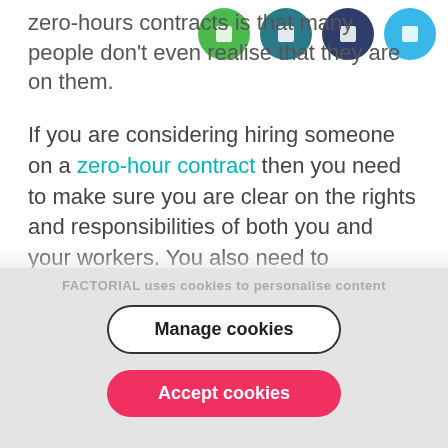[Figure (other): Row of four social sharing icon circles (green, dark teal, dark navy, light blue) in the top-right corner]
zero-hours contracts is that many people don't even realise that they are on them.
If you are considering hiring someone on a zero-hour contract then you need to make sure you are clear on the rights and responsibilities of both you and your workers. You also need to understand how these contracts work in terms of notice periods, SSP, and
FACTORIAL uses cookies to personalise content
Manage cookies
Accept cookies